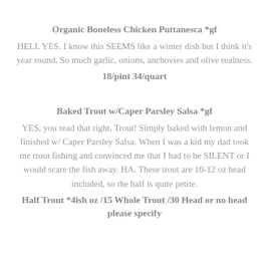Organic Boneless Chicken Puttanesca *gf
HELL YES. I know this SEEMS like a winter dish but I think it's year round. So much garlic, onions, anchovies and olive realness.
18/pint 34/quart
Baked Trout w/Caper Parsley Salsa *gf
YES, you read that right, Trout! Simply baked with lemon and finished w/ Caper Parsley Salsa. When I was a kid my dad took me trout fishing and convinced me that I had to be SILENT or I would scare the fish away. HA. These trout are 10-12 oz head included, so the half is quite petite.
Half Trout *4ish oz /15 Whole Trout /30 Head or no head please specify